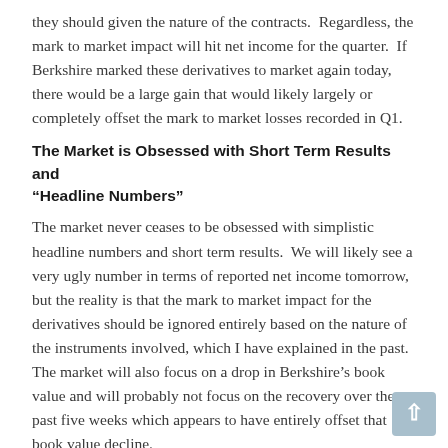they should given the nature of the contracts.  Regardless, the mark to market impact will hit net income for the quarter.  If Berkshire marked these derivatives to market again today, there would be a large gain that would likely largely or completely offset the mark to market losses recorded in Q1.
The Market is Obsessed with Short Term Results and “Headline Numbers”
The market never ceases to be obsessed with simplistic headline numbers and short term results.  We will likely see a very ugly number in terms of reported net income tomorrow, but the reality is that the mark to market impact for the derivatives should be ignored entirely based on the nature of the instruments involved, which I have explained in the past.  The market will also focus on a drop in Berkshire’s book value and will probably not focus on the recovery over the past five weeks which appears to have entirely offset that book value decline.